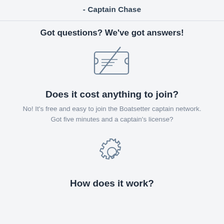- Captain Chase
Got questions? We've got answers!
[Figure (illustration): Icon of a ticket with a diagonal line through it (no cost symbol)]
Does it cost anything to join?
No! It's free and easy to join the Boatsetter captain network. Got five minutes and a captain's license?
[Figure (illustration): Gear/settings cog icon]
How does it work?